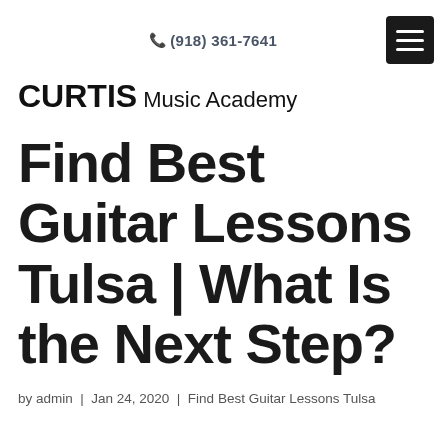(918) 361-7641
CURTIS Music Academy
Find Best Guitar Lessons Tulsa | What Is the Next Step?
by admin | Jan 24, 2020 | Find Best Guitar Lessons Tulsa